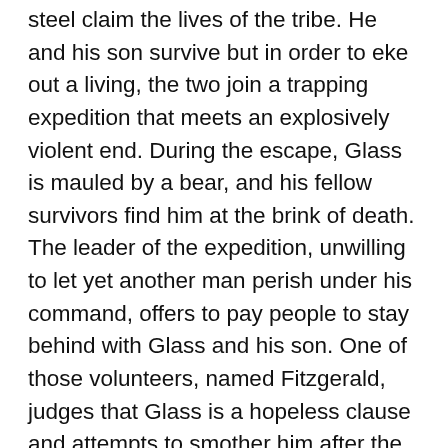steel claim the lives of the tribe. He and his son survive but in order to eke out a living, the two join a trapping expedition that meets an explosively violent end. During the escape, Glass is mauled by a bear, and his fellow survivors find him at the brink of death. The leader of the expedition, unwilling to let yet another man perish under his command, offers to pay people to stay behind with Glass and his son. One of those volunteers, named Fitzgerald, judges that Glass is a hopeless clause and attempts to smother him after the rest of the expedition leaves. Glass's son tries to stop him, but Fitzgerald overpowers the boy and murders him. Fitzgerald proceeds to trick his fellow volunteer into believing the Native Americans are coming for revenge and leaves Glass to die. By some cruel miracle, Glass survives